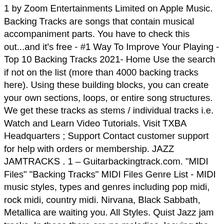1 by Zoom Entertainments Limited on Apple Music. Backing Tracks are songs that contain musical accompaniment parts. You have to check this out...and it's free - #1 Way To Improve Your Playing - Top 10 Backing Tracks 2021- Home Use the search if not on the list (more than 4000 backing tracks here). Using these building blocks, you can create your own sections, loops, or entire song structures. We get these tracks as stems / individual tracks i.e. Watch and Learn Video Tutorials. Visit TXBA Headquarters ; Support Contact customer support for help with orders or membership. JAZZ JAMTRACKS . 1 – Guitarbackingtrack.com. "MIDI Files" "Backing Tracks" MIDI Files Genre List - MIDI music styles, types and genres including pop midi, rock midi, country midi. Nirvana, Black Sabbath, Metallica are waiting you. All Styles. Quist Jazz jam tracks. In these there are no melodies, leaving the soloist room to play, and possibly sing alongside it. Quist Dorian jam tracks. Blues in C. Play-Along Backing Tracks. We have over 57,000 professional quality backing tracks, and we add new instrumental music versions and features every day. B ut what type of tracks are there and where can you find the best backing tracks online?. It gets high marks for being well laid out and easy to use. 3,296 free Drum loops and solo Drum recordings in our Track Collection. Caminando Por la Vida - Melendi Guitar Backing Track in F 5. It's fun to play along with these and